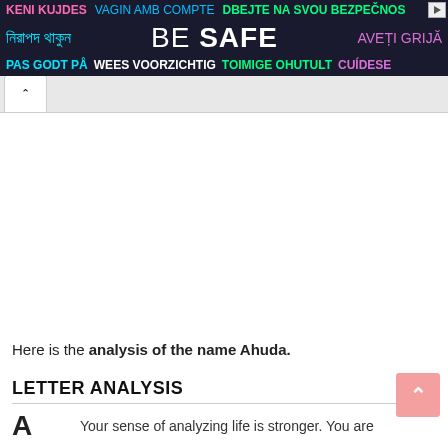[Figure (other): Multilingual safety banner advertisement with dark navy background. Row 1: 'KENI KUJDES' (pink), 'VAGIN AMB COMPTE' (blue), 'DBEJTE NA SVOU BEZPEČNOS' (green). Row 2: Bengali text (cyan), 'BE SAFE' (white large text), 'AVEȚI GRIJĂ' (purple). Row 3: 'PAS GODT PÅ' (cyan), 'WEES VOORZICHTIG' (white), 'TOIMIGE OHUTULT' (green), 'CUÍDESE' (purple).]
Here is the analysis of the name Ahuda.
LETTER ANALYSIS
Your sense of analyzing life is stronger. You are
A